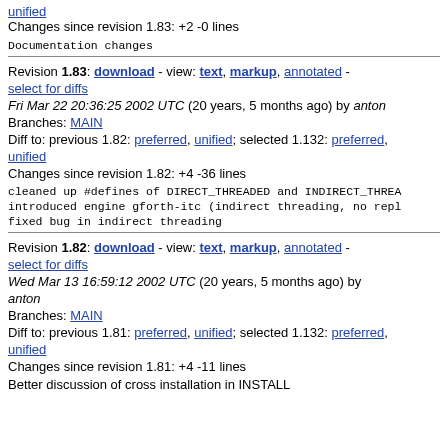unified
Changes since revision 1.83: +2 -0 lines
Documentation changes
Revision 1.83: download - view: text, markup, annotated - select for diffs
Fri Mar 22 20:36:25 2002 UTC (20 years, 5 months ago) by anton
Branches: MAIN
Diff to: previous 1.82: preferred, unified; selected 1.132: preferred, unified
Changes since revision 1.82: +4 -36 lines
cleaned up #defines of DIRECT_THREADED and INDIRECT_THREA
introduced engine gforth-itc (indirect threading, no repl
fixed bug in indirect threading
Revision 1.82: download - view: text, markup, annotated - select for diffs
Wed Mar 13 16:59:12 2002 UTC (20 years, 5 months ago) by anton
Branches: MAIN
Diff to: previous 1.81: preferred, unified; selected 1.132: preferred, unified
Changes since revision 1.81: +4 -11 lines
Better discussion of cross installation in INSTALL